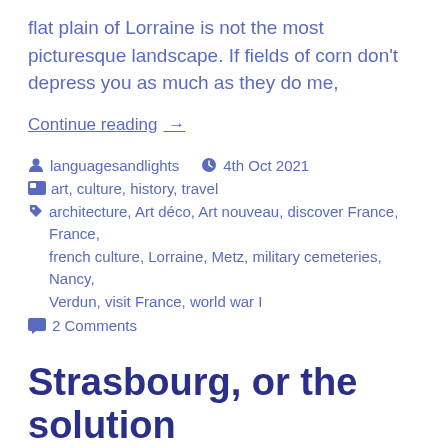flat plain of Lorraine is not the most picturesque landscape. If fields of corn don't depress you as much as they do me,
Continue reading →
languagesandlights   4th Oct 2021
art, culture, history, travel
architecture, Art déco, Art nouveau, discover France, France, french culture, Lorraine, Metz, military cemeteries, Nancy, Verdun, visit France, world war I
2 Comments
Strasbourg, or the solution